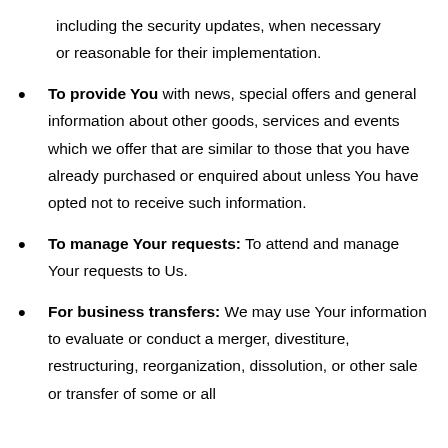including the security updates, when necessary or reasonable for their implementation.
To provide You with news, special offers and general information about other goods, services and events which we offer that are similar to those that you have already purchased or enquired about unless You have opted not to receive such information.
To manage Your requests: To attend and manage Your requests to Us.
For business transfers: We may use Your information to evaluate or conduct a merger, divestiture, restructuring, reorganization, dissolution, or other sale or transfer of some or all